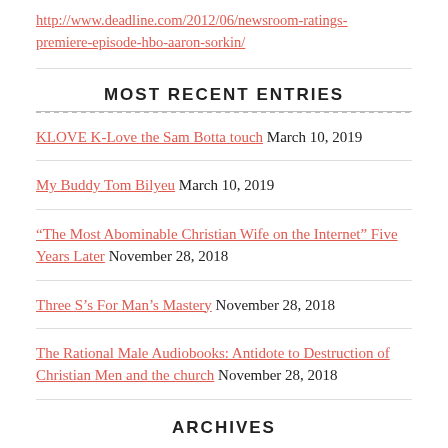http://www.deadline.com/2012/06/newsroom-ratings-premiere-episode-hbo-aaron-sorkin/
MOST RECENT ENTRIES
KLOVE K-Love the Sam Botta touch  March 10, 2019
My Buddy Tom Bilyeu  March 10, 2019
“The Most Abominable Christian Wife on the Internet” Five Years Later  November 28, 2018
Three S’s For Man’s Mastery  November 28, 2018
The Rational Male Audiobooks: Antidote to Destruction of Christian Men and the church  November 28, 2018
ARCHIVES